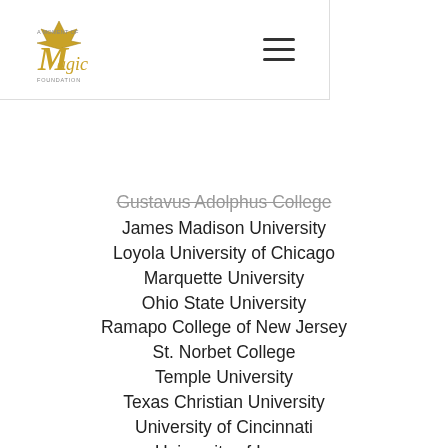A Moment of Magic Foundation — navigation header with logo and hamburger menu
Gustavus Adolphus College
James Madison University
Loyola University of Chicago
Marquette University
Ohio State University
Ramapo College of New Jersey
St. Norbet College
Temple University
Texas Christian University
University of Cincinnati
University of Iowa
University of North Carolina
University of Pennsylvania
University of Portland
University of Virginia
University of Wisconsin-Madison
University of Wisconsin-Milwaukee
West Chester University
West Virginia University
Western Michigan University